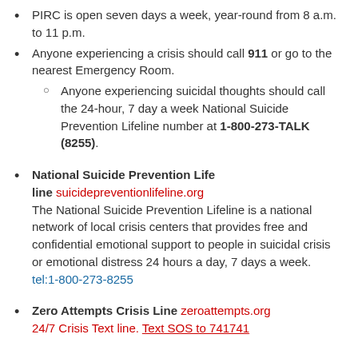PIRC is open seven days a week, year-round from 8 a.m. to 11 p.m.
Anyone experiencing a crisis should call 911 or go to the nearest Emergency Room.
Anyone experiencing suicidal thoughts should call the 24-hour, 7 day a week National Suicide Prevention Lifeline number at 1-800-273-TALK (8255).
National Suicide Prevention Lifeline suicidepreventionlifeline.org — The National Suicide Prevention Lifeline is a national network of local crisis centers that provides free and confidential emotional support to people in suicidal crisis or emotional distress 24 hours a day, 7 days a week. tel:1-800-273-8255
Zero Attempts Crisis Line zeroattempts.org — 24/7 Crisis Text line. Text SOS to 741741